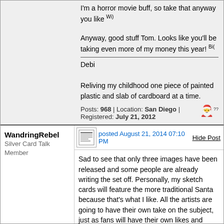I'm a horror movie buff, so take that anyway you like Wink

Anyway, good stuff Tom. Looks like you'll be taking even more of my money this year! Big Grin
Debi

Reliving my childhood one piece of painted plastic and slab of cardboard at a time.
Posts: 968 | Location: San Diego | Registered: July 21, 2012
WandringRebel
Silver Card Talk Member
posted August 21, 2014 07:10 PM
Hide Post
Sad to see that only three images have been released and some people are already writing the set off. Personally, my sketch cards will feature the more traditional Santa because that's what I like. All the artists are going to have their own take on the subject, just as fans will have their own likes and dislikes. I just think that people should refrain from making judgments about products until there's a wider sample shown.
Twitter = L_Inglis_artist
Facebook = LauraInglis7
http://laurainglisillustration.com